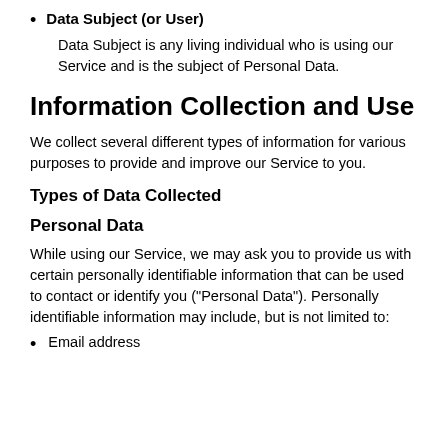Data Subject (or User)
Data Subject is any living individual who is using our Service and is the subject of Personal Data.
Information Collection and Use
We collect several different types of information for various purposes to provide and improve our Service to you.
Types of Data Collected
Personal Data
While using our Service, we may ask you to provide us with certain personally identifiable information that can be used to contact or identify you ("Personal Data"). Personally identifiable information may include, but is not limited to:
Email address